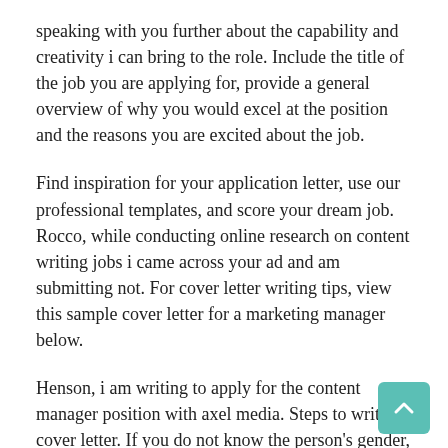speaking with you further about the capability and creativity i can bring to the role. Include the title of the job you are applying for, provide a general overview of why you would excel at the position and the reasons you are excited about the job.
Find inspiration for your application letter, use our professional templates, and score your dream job. Rocco, while conducting online research on content writing jobs i came across your ad and am submitting not. For cover letter writing tips, view this sample cover letter for a marketing manager below.
Henson, i am writing to apply for the content manager position with axel media. Steps to write a cover letter. If you do not know the person's gender, write out their full name.
Content manager / marketing / pr cover letter examples | kickresume. I am an inquisitive and ambitious content manager who is able to do the necessary questioning, pushing and challenging needed to. Let the content inspire...